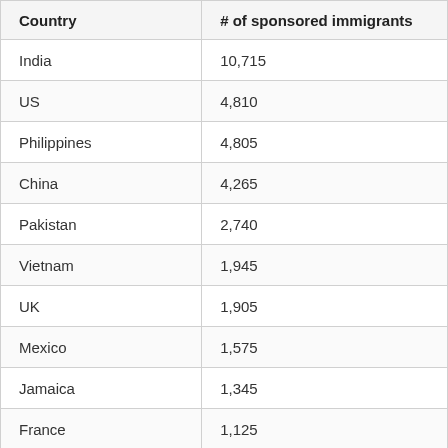| Country | # of sponsored immigrants |
| --- | --- |
| India | 10,715 |
| US | 4,810 |
| Philippines | 4,805 |
| China | 4,265 |
| Pakistan | 2,740 |
| Vietnam | 1,945 |
| UK | 1,905 |
| Mexico | 1,575 |
| Jamaica | 1,345 |
| France | 1,125 |